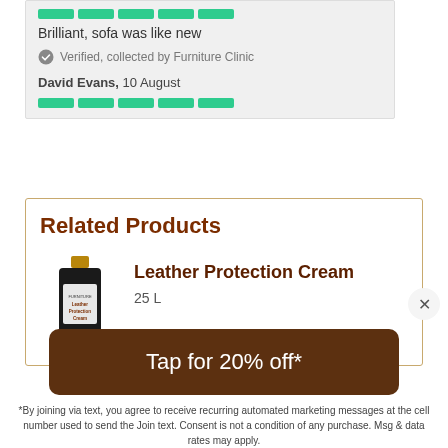Brilliant, sofa was like new
Verified, collected by Furniture Clinic
David Evans, 10 August
Related Products
Leather Protection Cream
[Figure (photo): Bottle of Leather Protection Cream product]
Tap for 20% off*
*By joining via text, you agree to receive recurring automated marketing messages at the cell number used to send the Join text. Consent is not a condition of any purchase. Msg & data rates may apply.